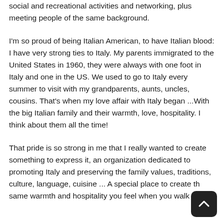social and recreational activities and networking, plus meeting people of the same background.
I'm so proud of being Italian American, to have Italian blood: I have very strong ties to Italy. My parents immigrated to the United States in 1960, they were always with one foot in Italy and one in the US. We used to go to Italy every summer to visit with my grandparents, aunts, uncles, cousins. That's when my love affair with Italy began ...With the big Italian family and their warmth, love, hospitality. I think about them all the time!
That pride is so strong in me that I really wanted to create something to express it, an organization dedicated to promoting Italy and preserving the family values, traditions, culture, language, cuisine ... A special place to create the same warmth and hospitality you feel when you walk in...